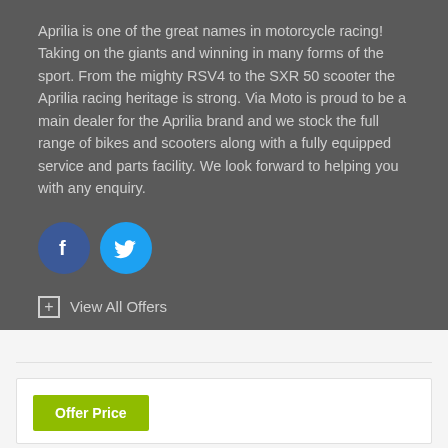Aprilia is one of the great names in motorcycle racing! Taking on the giants and winning in many forms of the sport. From the mighty RSV4 to the SXR 50 scooter the Aprilia racing heritage is strong. Via Moto is proud to be a main dealer for the Aprilia brand and we stock the full range of bikes and scooters along with a fully equipped service and parts facility. We look forward to helping you with any enquiry.
[Figure (illustration): Facebook and Twitter social media icons — blue circle with white 'f' for Facebook, blue circle with white Twitter bird logo]
View All Offers
Offer Price